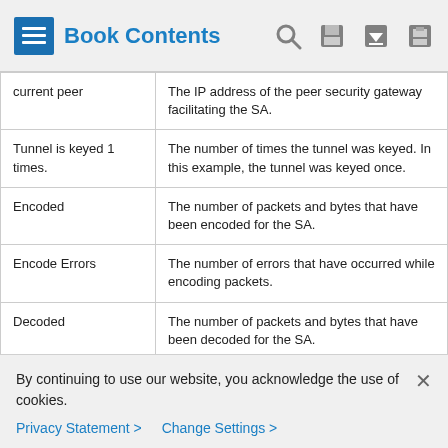Book Contents
| Term | Description |
| --- | --- |
| current peer | The IP address of the peer security gateway facilitating the SA. |
| Tunnel is keyed 1 times. | The number of times the tunnel was keyed. In this example, the tunnel was keyed once. |
| Encoded | The number of packets and bytes that have been encoded for the SA. |
| Encode Errors | The number of errors that have occurred while encoding packets. |
| Decoded | The number of packets and bytes that have been decoded for the SA. |
| Decode Errors | The number of errors that have occurred |
By continuing to use our website, you acknowledge the use of cookies.
Privacy Statement > Change Settings >